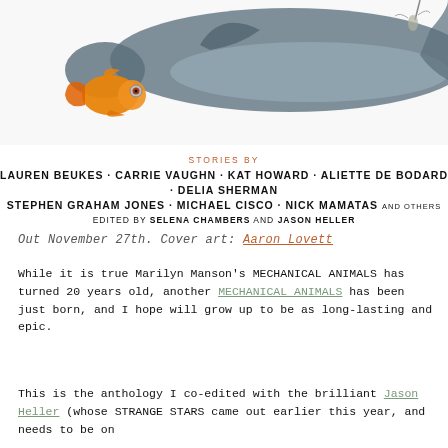[Figure (illustration): Book cover illustration showing a whale, a goldfish with mechanical/steampunk eye, and other animals against a white background. Partial view showing mainly the animals.]
STORIES BY
LAUREN BEUKES · CARRIE VAUGHN · KAT HOWARD · ALIETTE DE BODARD · DELIA SHERMAN
STEPHEN GRAHAM JONES · MICHAEL CISCO · NICK MAMATAS AND OTHERS
EDITED BY SELENA CHAMBERS AND JASON HELLER
Out November 27th. Cover art: Aaron Lovett
While it is true Marilyn Manson's MECHANICAL ANIMALS has turned 20 years old, another MECHANICAL ANIMALS has been just born, and I hope will grow up to be as long-lasting and epic.
This is the anthology I co-edited with the brilliant Jason Heller (whose STRANGE STARS came out earlier this year, and needs to be on